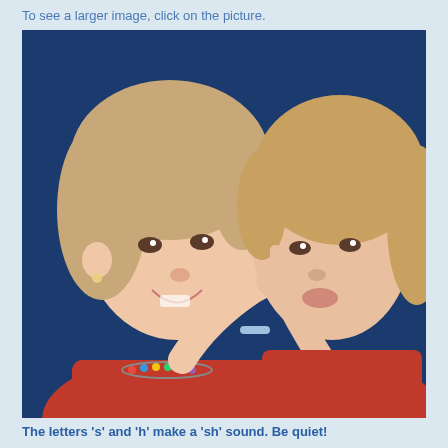To see a larger image, click on the picture.
[Figure (photo): Two young girls in pink tops facing each other, each holding a finger to their lips in a 'shh' gesture, against a dark blue background.]
The letters 's' and 'h' make a 'sh' sound. Be quiet!
1  This is a picture of a penknife. Which